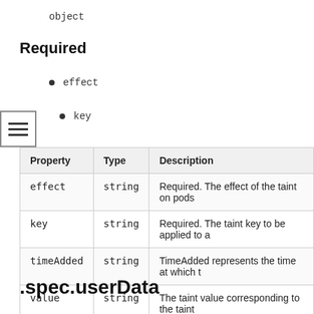object
Required
effect
key
| Property | Type | Description |
| --- | --- | --- |
| effect | string | Required. The effect of the taint on pods |
| key | string | Required. The taint key to be applied to a |
| timeAdded | string | TimeAdded represents the time at which t |
| value | string | The taint value corresponding to the taint |
.spec.userData